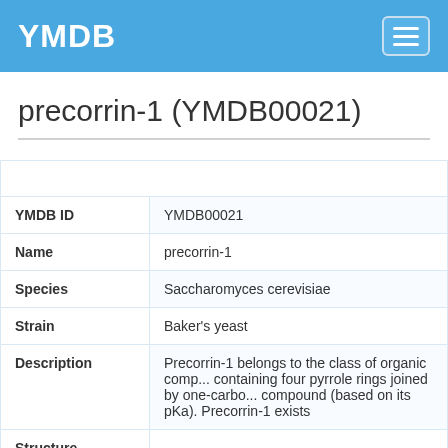YMDB
precorrin-1 (YMDB00021)
| Identification |
| --- |
| YMDB ID | YMDB00021 |
| Name | precorrin-1 |
| Species | Saccharomyces cerevisiae |
| Strain | Baker's yeast |
| Description | Precorrin-1 belongs to the class of organic compounds containing four pyrrole rings joined by one-carbon compound (based on its pKa). Precorrin-1 exists |
| Structure | [chemical structure image] |